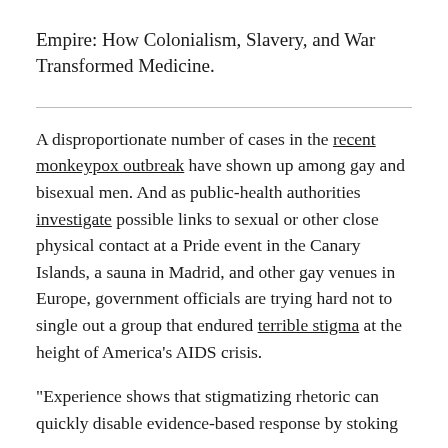Empire: How Colonialism, Slavery, and War Transformed Medicine.
A disproportionate number of cases in the recent monkeypox outbreak have shown up among gay and bisexual men. And as public-health authorities investigate possible links to sexual or other close physical contact at a Pride event in the Canary Islands, a sauna in Madrid, and other gay venues in Europe, government officials are trying hard not to single out a group that endured terrible stigma at the height of America’s AIDS crisis.
“Experience shows that stigmatizing rhetoric can quickly disable evidence-based response by stoking